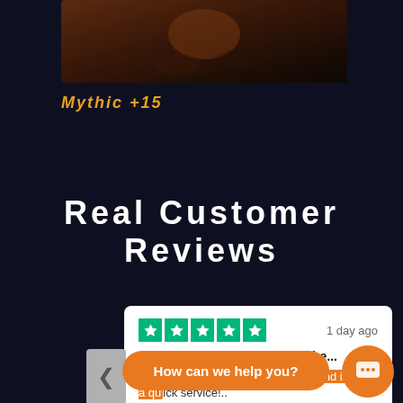[Figure (photo): Dark reddish-brown game screenshot or hero image at top]
Mythic +15
Real Customer Reviews
[Figure (other): Trustpilot review card with 5 green stars, '1 day ago', review title 'They did what was asked of the...' and body text 'They did what was asked of them and it was a quick service!..']
How can we help you?